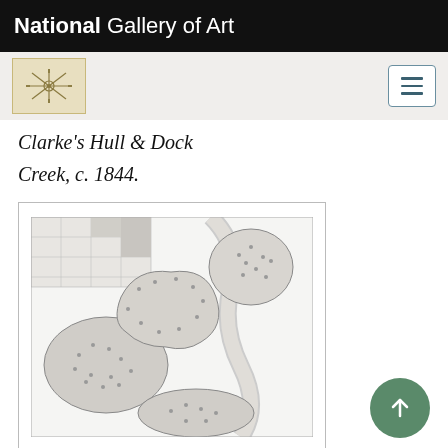National Gallery of Art
Clarke's Hull & Dock Creek, c. 1844.
[Figure (illustration): Ground plan/map illustration showing a landscape design with winding paths, dotted vegetation patterns representing trees and shrubs, a central building structure, and a grid of rectangular lots in the upper portion. Black and white engraving style.]
Frances Palmer, "Ground Plot of Brier Cottage," in William H. Ranlett, The